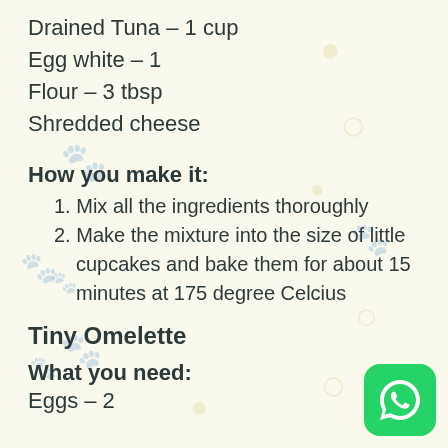Drained Tuna – 1 cup
Egg white – 1
Flour – 3 tbsp
Shredded cheese
How you make it:
1. Mix all the ingredients thoroughly
2. Make the mixture into the size of little cupcakes and bake them for about 15 minutes at 175 degree Celcius
Tiny Omelette
What you need:
Eggs – 2